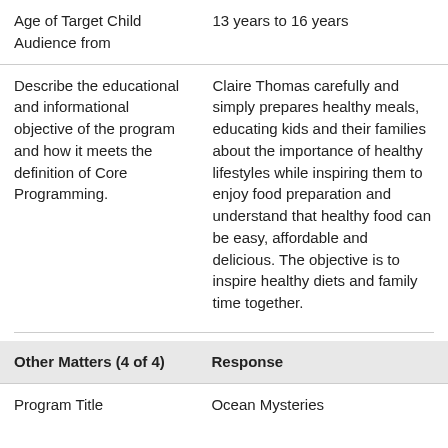| Age of Target Child Audience from | 13 years to 16 years |
| --- | --- |
| Describe the educational and informational objective of the program and how it meets the definition of Core Programming. | Claire Thomas carefully and simply prepares healthy meals, educating kids and their families about the importance of healthy lifestyles while inspiring them to enjoy food preparation and understand that healthy food can be easy, affordable and delicious. The objective is to inspire healthy diets and family time together. |
| Other Matters (4 of 4) | Response |
| --- | --- |
| Program Title | Ocean Mysteries |